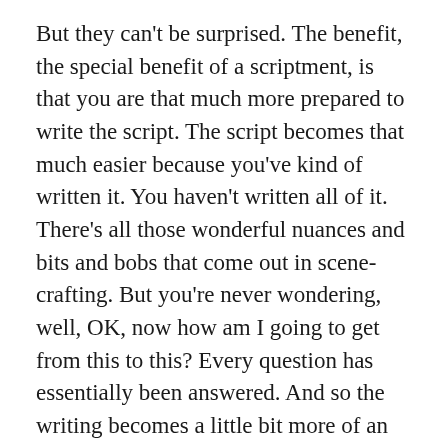But they can't be surprised. The benefit, the special benefit of a scriptment, is that you are that much more prepared to write the script. The script becomes that much easier because you've kind of written it. You haven't written all of it. There's all those wonderful nuances and bits and bobs that come out in scene-crafting. But you're never wondering, well, OK, now how am I going to get from this to this? Every question has essentially been answered. And so the writing becomes a little bit more of an extension of the scriptment as opposed to just starting up a new process.
John: Yeah. So let's talk some pros and cons here. I would say a con for the treatment is that as a screenwriter you don't have all of your tools. Like